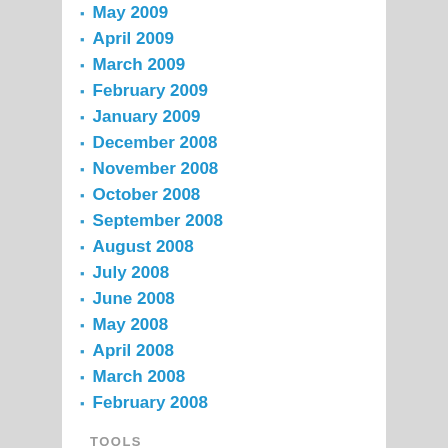May 2009
April 2009
March 2009
February 2009
January 2009
December 2008
November 2008
October 2008
September 2008
August 2008
July 2008
June 2008
May 2008
April 2008
March 2008
February 2008
TOOLS
Log in
Entries feed
Comments feed